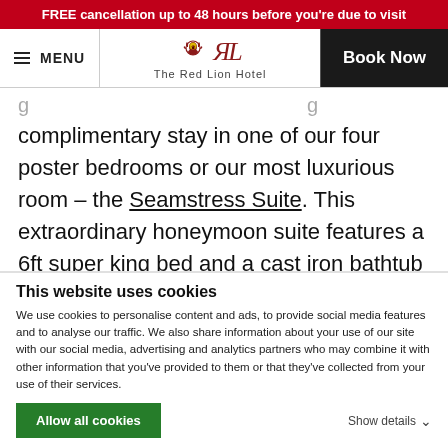FREE cancellation up to 48 hours before you're due to visit
[Figure (logo): Red Lion Hotel logo with lion crest icon and stylized RL letters, text 'The Red Lion Hotel' below]
complimentary stay in one of our four poster bedrooms or our most luxurious room – the Seamstress Suite. This extraordinary honeymoon suite features a 6ft super king bed and a cast iron bathtub at the end of the bed!
BOOK SHOW-AROUND
This website uses cookies
We use cookies to personalise content and ads, to provide social media features and to analyse our traffic. We also share information about your use of our site with our social media, advertising and analytics partners who may combine it with other information that you've provided to them or that they've collected from your use of their services.
Allow all cookies
Show details